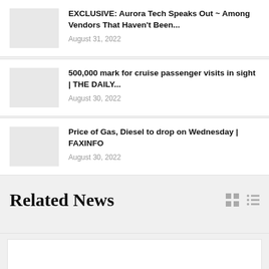EXCLUSIVE: Aurora Tech Speaks Out ~ Among Vendors That Haven't Been... August 31, 2022
500,000 mark for cruise passenger visits in sight | THE DAILY... August 30, 2022
Price of Gas, Diesel to drop on Wednesday | FAXINFO August 30, 2022
Related News